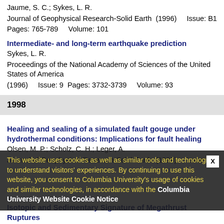Jaume, S. C.; Sykes, L. R.
Journal of Geophysical Research-Solid Earth  (1996)    Issue: B1
Pages: 765-789    Volume: 101
Intermediate- and long-term earthquake prediction
Sykes, L. R.
Proceedings of the National Academy of Sciences of the United States of America
(1996)    Issue: 9  Pages: 3732-3739    Volume: 93
1998
Healing and sealing of a simulated fault gouge under hydrothermal conditions: Implications for fault healing
Olsen, M. P.; Scholz, C. H.; Leger, A.
Journal of Geophysical Research-Solid Earth  (1998)    Issue: B4
This website uses cookies as well as similar tools and technologies to understand visitors' experiences. By continuing to use this website, you consent to Columbia University's usage of cookies and similar technologies, in accordance with the Columbia University Website Cookie Notice
Isotopic and Sedimentary Signature of Megathrust Ruptures